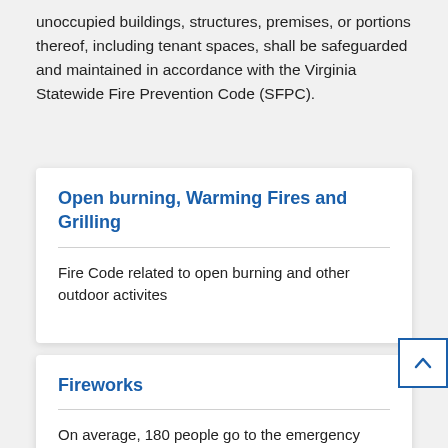unoccupied buildings, structures, premises, or portions thereof, including tenant spaces, shall be safeguarded and maintained in accordance with the Virginia Statewide Fire Prevention Code (SFPC).
Open burning, Warming Fires and Grilling
Fire Code related to open burning and other outdoor activites
Fireworks
On average, 180 people go to the emergency room every day with fireworks-related injuries in the month around the July 4th holiday.